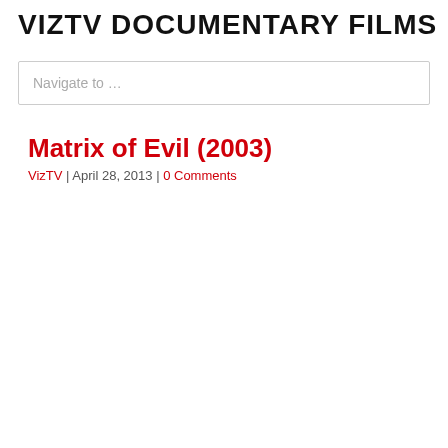VIZTV DOCUMENTARY FILMS
Navigate to …
Matrix of Evil (2003)
VizTV | April 28, 2013 | 0 Comments